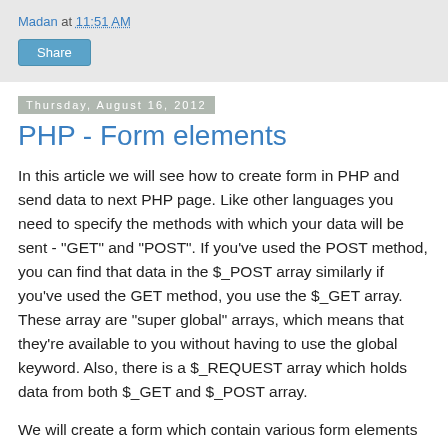Madan at 11:51 AM
Share
Thursday, August 16, 2012
PHP - Form elements
In this article we will see how to create form in PHP and send data to next PHP page. Like other languages you need to specify the methods with which your data will be sent - "GET" and "POST". If you've used the POST method, you can find that data in the $_POST array similarly if you've used the GET method, you use the $_GET array. These array are "super global" arrays, which means that they're available to you without having to use the global keyword. Also, there is a $_REQUEST array which holds data from both $_GET and $_POST array.
We will create a form which contain various form elements like text box, password, radio button, select dropdown, text